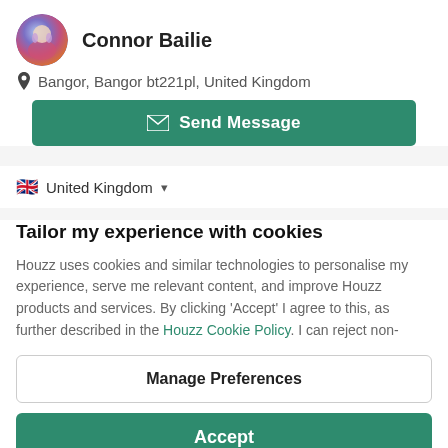Connor Bailie
Bangor, Bangor bt221pl, United Kingdom
Send Message
United Kingdom
Tailor my experience with cookies
Houzz uses cookies and similar technologies to personalise my experience, serve me relevant content, and improve Houzz products and services. By clicking 'Accept' I agree to this, as further described in the Houzz Cookie Policy. I can reject non-
Manage Preferences
Accept